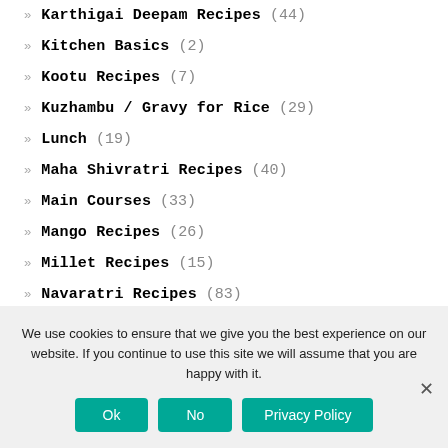Karthigai Deepam Recipes (44)
Kitchen Basics (2)
Kootu Recipes (7)
Kuzhambu / Gravy for Rice (29)
Lunch (19)
Maha Shivratri Recipes (40)
Main Courses (33)
Mango Recipes (26)
Millet Recipes (15)
Navaratri Recipes (83)
North Indian Recipes (12)
We use cookies to ensure that we give you the best experience on our website. If you continue to use this site we will assume that you are happy with it.